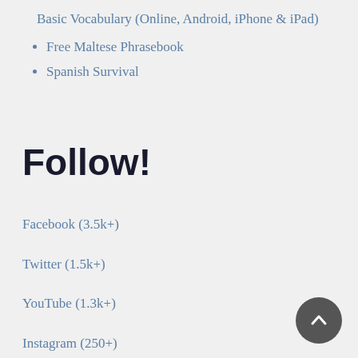Basic Vocabulary (Online, Android, iPhone & iPad)
Free Maltese Phrasebook
Spanish Survival
Follow!
Facebook (3.5k+)
Twitter (1.5k+)
YouTube (1.3k+)
Instagram (250+)